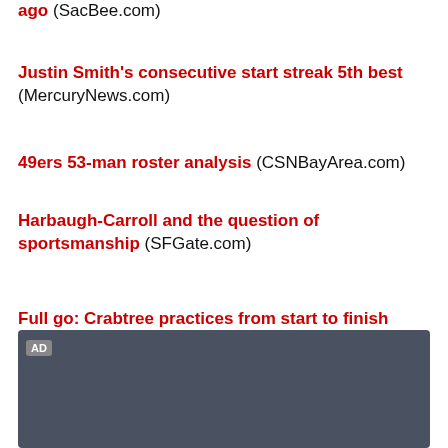ago (SacBee.com)
Justin Smith's consecutive start streak 5th best (MercuryNews.com)
49ers 53-man roster analysis (CSNBayArea.com)
Harbaugh-Carroll and the question of sportsmanship (SFGate.com)
Full go: Crabtree practices from start to finish (SacBee.com)
Cpt. Willis speaks on 'setting this place on fire' (MercuryNews.com)
[Figure (other): Advertisement box with dark gray background and AD label]